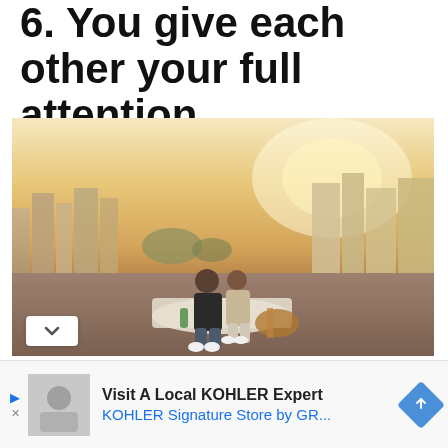6. You give each other your full attention.
[Figure (photo): A couple sitting together on a rooftop with a cityscape and warm golden sunset in the background, sharing an intimate moment with a picnic blanket beneath them.]
Visit A Local KOHLER Expert
KOHLER Signature Store by GR...